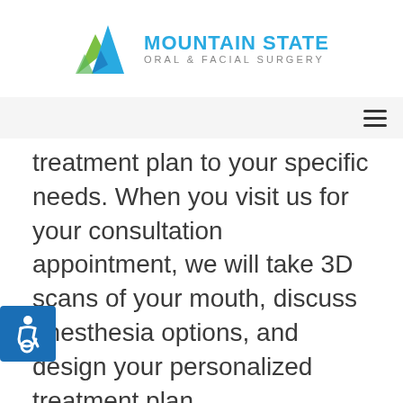Mountain State Oral & Facial Surgery
treatment plan to your specific needs. When you visit us for your consultation appointment, we will take 3D scans of your mouth, discuss anesthesia options, and design your personalized treatment plan.
On the day of your procedure, our welcoming staff members will guide you through every step of the process. First, you will choose anesthesia that you're comfortable with. Once the anesthetic has taken effect, your doctor will carefully place the implant post into the empty tooth socket and stitch the surgical site closed. When the anesthesia has worn off